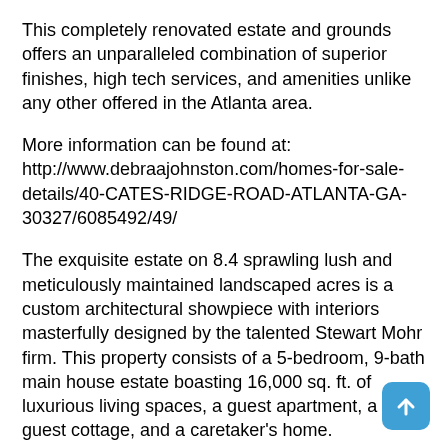This completely renovated estate and grounds offers an unparalleled combination of superior finishes, high tech services, and amenities unlike any other offered in the Atlanta area.
More information can be found at: http://www.debraajohnston.com/homes-for-sale-details/40-CATES-RIDGE-ROAD-ATLANTA-GA-30327/6085492/49/
The exquisite estate on 8.4 sprawling lush and meticulously maintained landscaped acres is a custom architectural showpiece with interiors masterfully designed by the talented Stewart Mohr firm. This property consists of a 5-bedroom, 9-bath main house estate boasting 16,000 sq. ft. of luxurious living spaces, a guest apartment, a guest cottage, and a caretaker's home.
Located at the end of a gated street, this property is nothing short of a slice of heaven as you enter the extremely private and unparalleled setting of scenic beauty perfection. Stay active all day between the